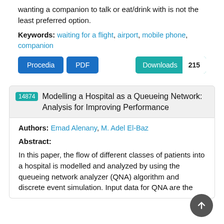wanting a companion to talk or eat/drink with is not the least preferred option.
Keywords: waiting for a flight, airport, mobile phone, companion
Procedia | PDF | Downloads 215
14874 Modelling a Hospital as a Queueing Network: Analysis for Improving Performance
Authors: Emad Alenany, M. Adel El-Baz
Abstract:
In this paper, the flow of different classes of patients into a hospital is modelled and analyzed by using the queueing network analyzer (QNA) algorithm and discrete event simulation. Input data for QNA are the